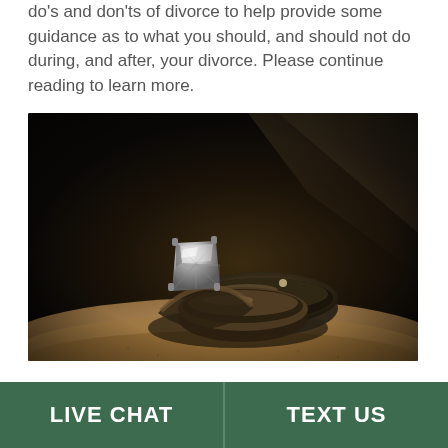do's and don'ts of divorce to help provide some guidance as to what you should, and should not do during, and after, your divorce. Please continue reading to learn more.
[Figure (photo): Close-up photo of wedding rings — an engagement ring with a large square-cut diamond and wedding bands — resting on a sandy/textured surface with dramatic dark moody lighting]
LIVE CHAT | TEXT US